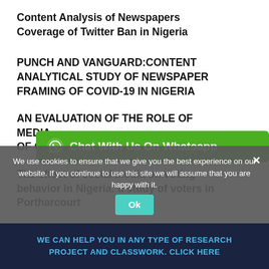Content Analysis of Newspapers Coverage of Twitter Ban in Nigeria
PUNCH AND VANGUARD:CONTENT ANALYTICAL STUDY OF NEWSPAPER FRAMING OF COVID-19 IN NIGERIA
AN EVALUATION OF THE ROLE OF MEDIA... OF COVID 19 PANDEMIC IN NIGERIA
[Figure (screenshot): Green WhatsApp chat button overlay: 'Chat With Us On Whatsapp']
The effect of social media on voting behavior in Nigeria: a study of voters in Portharcourt
We use cookies to ensure that we give you the best experience on our website. If you continue to use this site we will assume that you are happy with it.
Ok
WE CAN HELP YOU IN ANY TYPE OF RESEARCH PROJECT AND CLASSWORK. CLICK HERE